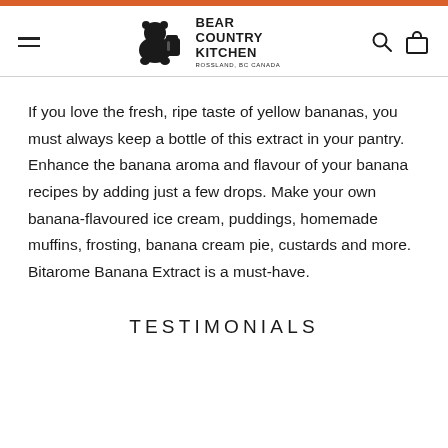Bear Country Kitchen — Rossland, BC Canada
If you love the fresh, ripe taste of yellow bananas, you must always keep a bottle of this extract in your pantry. Enhance the banana aroma and flavour of your banana recipes by adding just a few drops. Make your own banana-flavoured ice cream, puddings, homemade muffins, frosting, banana cream pie, custards and more. Bitarome Banana Extract is a must-have.
TESTIMONIALS